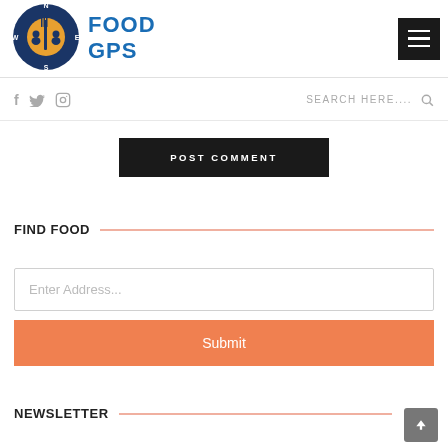Food GPS logo and navigation header
[Figure (logo): Food GPS logo: circular dark blue compass badge with fork and people icons, orange accent, next to 'FOOD GPS' text in bold blue]
[Figure (other): Hamburger menu button (three white lines on black background)]
f (Facebook icon), Twitter bird icon, Instagram circle icon  |  SEARCH HERE....  (magnifying glass icon)
POST COMMENT
FIND FOOD
Enter Address...
Submit
NEWSLETTER